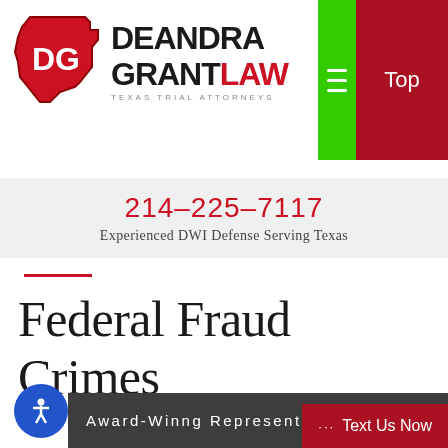[Figure (logo): Deandra Grant Law logo with Texas state outline in red, letters DG inside, followed by DEANDRA GRANT LAW in bold, TEXAS TRIAL ATTORNEYS subtitle]
Top
214-225-7117
Experienced DWI Defense Serving Texas
Federal Fraud Crimes
Award-Winng Representation
··· Text Us Now